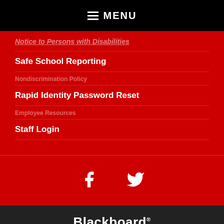MENU
Notice to Persons with Disabilities
Safe School Reporting
Rapid Identity Password Reset
Staff Login
[Figure (infographic): Social media icons: Facebook and Twitter in white on red background]
Blackboard
Questions or Feedback? • Terms of Use
Blackboard Web Community Manager Privacy Policy (Updated)
Copyright © 2002-2022 Blackboard, Inc. All rights reserved.